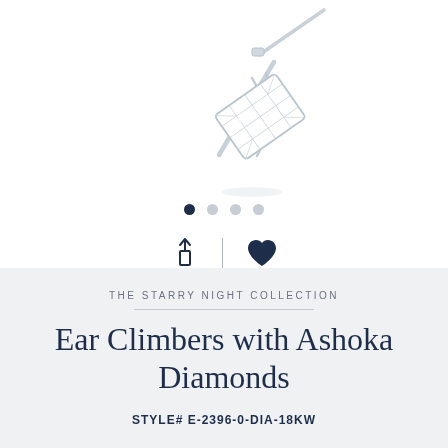[Figure (photo): Product photo of diamond ear climber earring on white background, shown at an angle with a rectangular Ashoka-cut diamond in a silver/white gold prong setting]
THE STARRY NIGHT COLLECTION
Ear Climbers with Ashoka Diamonds
STYLE# E-2396-0-DIA-18KW